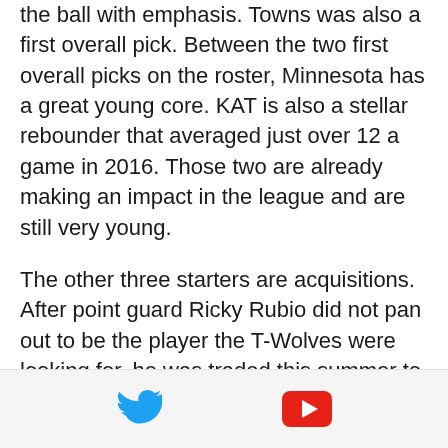the ball with emphasis. Towns was also a first overall pick. Between the two first overall picks on the roster, Minnesota has a great young core. KAT is also a stellar rebounder that averaged just over 12 a game in 2016. Those two are already making an impact in the league and are still very young.

The other three starters are acquisitions. After point guard Ricky Rubio did not pan out to be the player the T-Wolves were looking for, he was traded this summer to the Utah Jazz. That left an opening on the roster for a veteran ball distributor.
[Figure (other): Social media icons bar: Twitter bird icon (blue) and YouTube play button icon (red)]